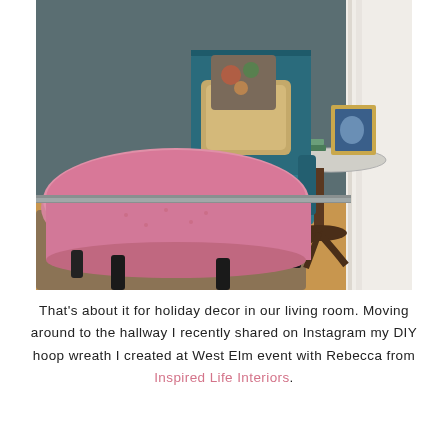[Figure (photo): Interior room photo showing a pink round ottoman in the foreground, a teal wingback chair with gold and floral pillows, a dark wood side table with a marble top holding books, a copper vase with flowers, and a framed picture. White curtain on the right. Hardwood floor with a jute rug.]
That's about it for holiday decor in our living room. Moving around to the hallway I recently shared on Instagram my DIY hoop wreath I created at West Elm event with Rebecca from Inspired Life Interiors.